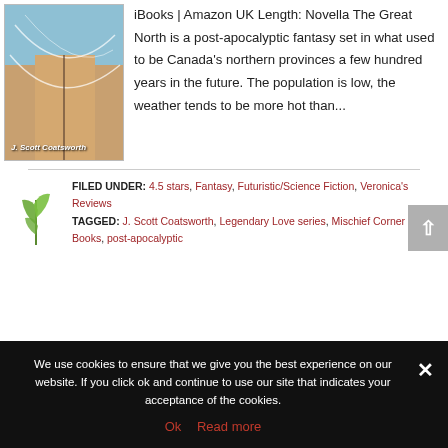[Figure (illustration): Book cover of 'The Great North' by J. Scott Coatsworth, showing a person's torso against a blue/teal background with white lines, author name at bottom left]
iBooks | Amazon UK Length: Novella The Great North is a post-apocalyptic fantasy set in what used to be Canada's northern provinces a few hundred years in the future. The population is low, the weather tends to be more hot than...
FILED UNDER: 4.5 stars, Fantasy, Futuristic/Science Fiction, Veronica's Reviews TAGGED: J. Scott Coatsworth, Legendary Love series, Mischief Corner Books, post-apocalyptic
[Figure (illustration): Small decorative leaf/plant icon]
We use cookies to ensure that we give you the best experience on our website. If you click ok and continue to use our site that indicates your acceptance of the cookies.
Ok  Read more